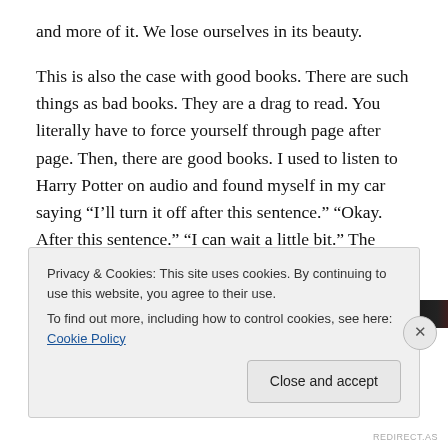and more of it. We lose ourselves in its beauty.
This is also the case with good books. There are such things as bad books. They are a drag to read. You literally have to force yourself through page after page. Then, there are good books. I used to listen to Harry Potter on audio and found myself in my car saying “I’ll turn it off after this sentence.” “Okay. After this sentence.” “I can wait a little bit.” The story was drawing me in. I wanted to hear more.
[Figure (photo): Partial view of a red and black book cover, likely Harry Potter]
Privacy & Cookies: This site uses cookies. By continuing to use this website, you agree to their use.
To find out more, including how to control cookies, see here: Cookie Policy
REDIRECT.AS